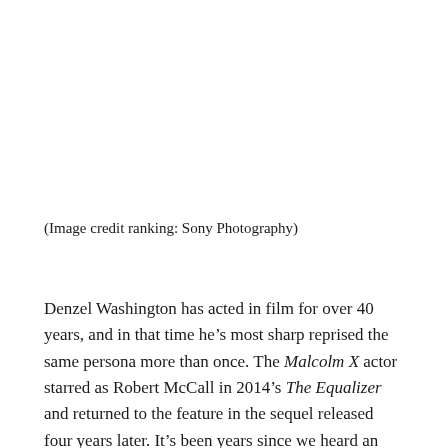(Image credit ranking: Sony Photography)
Denzel Washington has acted in film for over 40 years, and in that time he’s most sharp reprised the same persona more than once. The Malcolm X actor starred as Robert McCall in 2014’s The Equalizer and returned to the feature in the sequel released four years later. It’s been years since we heard an replace in regards to the chance of The Equalizer 3 taking place, however now